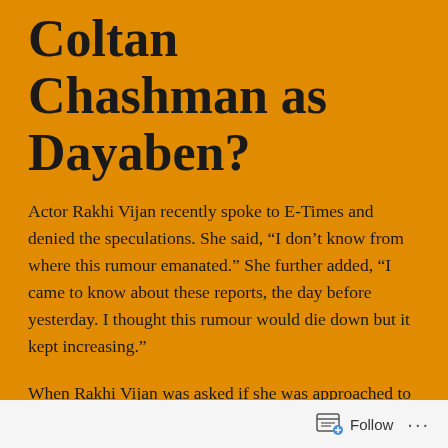Coltan Chashman as Dayaben?
Actor Rakhi Vijan recently spoke to E-Times and denied the speculations. She said, “I don’t know from where this rumour emanated.” She further added, “I came to know about these reports, the day before yesterday. I thought this rumour would die down but it kept increasing.”
When Rakhi Vijan was asked if she was approached to play Dayaben, would it be a challenge for her? To which she said, “Comedy comes naturally to me. But of course, it will be challenging. However, it won’t be very difficult.” Talking about bringing in that Gujju accent, she said, “I will have to educate myself on that. We are actors who
Follow